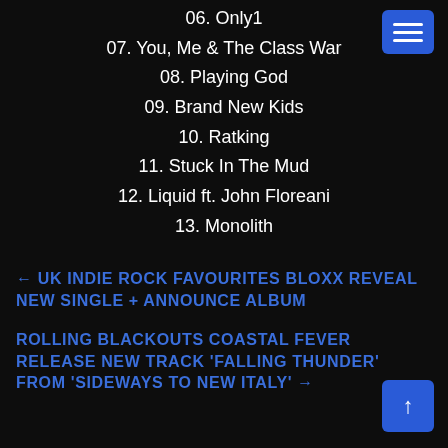06. Only1
07. You, Me & The Class War
08. Playing God
09. Brand New Kids
10. Ratking
11. Stuck In The Mud
12. Liquid ft. John Floreani
13. Monolith
← UK INDIE ROCK FAVOURITES BLOXX REVEAL NEW SINGLE + ANNOUNCE ALBUM
ROLLING BLACKOUTS COASTAL FEVER RELEASE NEW TRACK 'FALLING THUNDER' FROM 'SIDEWAYS TO NEW ITALY' →